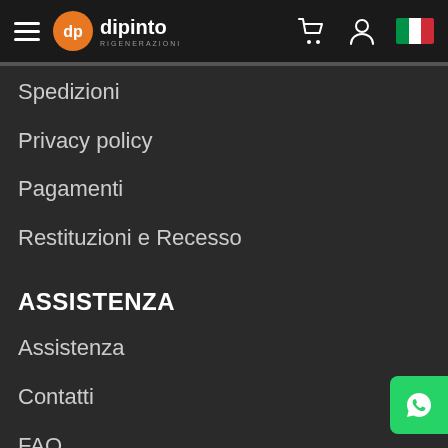[Figure (logo): Dipinto Rigenerazioni logo with orange circle dp icon and brand name, navigation header with hamburger menu, cart icon, user icon, Italian flag]
Spedizioni
Privacy policy
Pagamenti
Restituzioni e Recesso
ASSISTENZA
Assistenza
Contatti
FAQ
EXTRA
I nostri brand
I più venduti